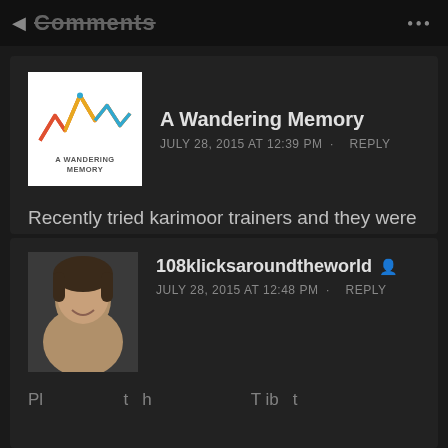Comments
A Wandering Memory
JULY 28, 2015 AT 12:39 PM · REPLY
Recently tried karimoor trainers and they were awlful... Otherwise Nike and my cheap filas aren't bad...
Liked by 1 person
108klicksaroundtheworld
JULY 28, 2015 AT 12:48 PM · REPLY